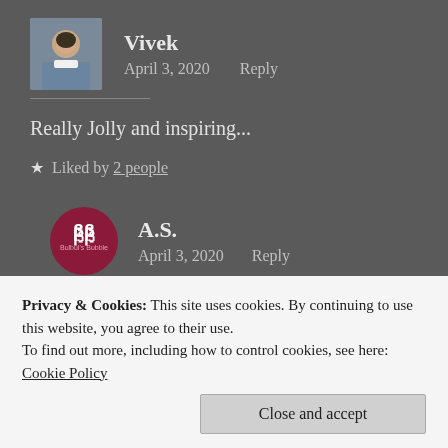[Figure (photo): Avatar photo of Vivek, a young man in a denim jacket]
Vivek
April 3, 2020   Reply
Really Jolly and inspiring...
★ Liked by 2 people
[Figure (logo): Bulbul's Bubble logo — dark red circle with BB letters]
A.S.
April 3, 2020   Reply
Privacy & Cookies: This site uses cookies. By continuing to use this website, you agree to their use.
To find out more, including how to control cookies, see here: Cookie Policy
Close and accept
★ Liked by 2 people